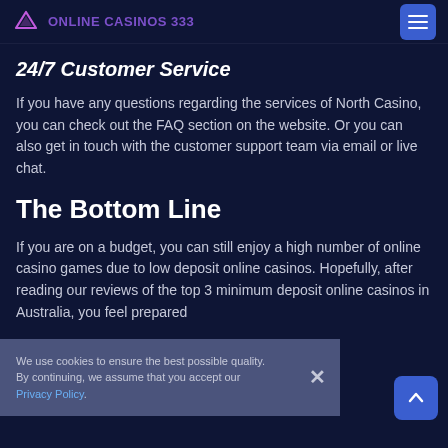ONLINE CASINOS 333
24/7 Customer Service
If you have any questions regarding the services of North Casino, you can check out the FAQ section on the website. Or you can also get in touch with the customer support team via email or live chat.
The Bottom Line
If you are on a budget, you can still enjoy a high number of online casino games due to low deposit online casinos. Hopefully, after reading our reviews of the top 3 minimum deposit online casinos in Australia, you feel prepared
We use cookies to ensure the best possible quality. By continuing, we assume that you accept our Privacy Policy.